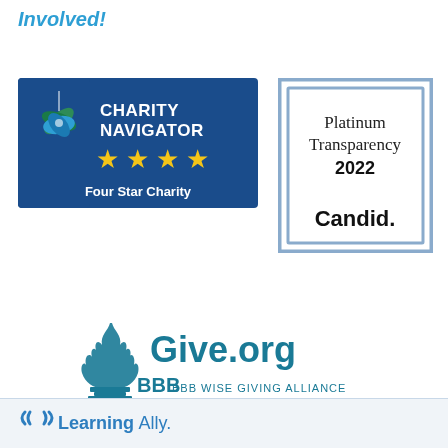Involved!
[Figure (logo): Charity Navigator Four Star Charity badge with blue background, green/blue star logo, and four yellow stars]
[Figure (logo): Candid Platinum Transparency 2022 badge with gray double border and bold Candid. text]
[Figure (logo): BBB Give.org BBB Wise Giving Alliance logo with teal flame/shield icon]
[Figure (logo): Learning Ally logo with sound wave icon in blue footer bar]